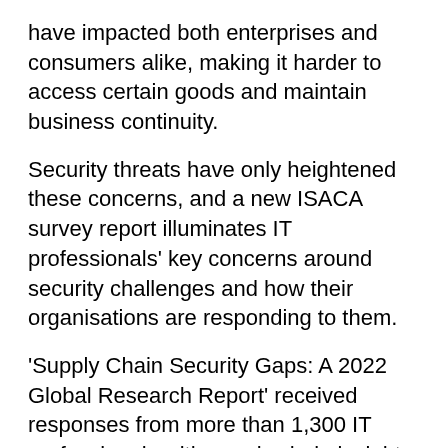have impacted both enterprises and consumers alike, making it harder to access certain goods and maintain business continuity.
Security threats have only heightened these concerns, and a new ISACA survey report illuminates IT professionals' key concerns around security challenges and how their organisations are responding to them.
'Supply Chain Security Gaps: A 2022 Global Research Report' received responses from more than 1,300 IT professionals with supply chain insight, 25% of whom note that their organisation experienced a supply chain attack in the last 12 months.
Survey respondents cited these five supply chain risks as being their key concerns:
Ransomware (73%)
Poor information security practices by suppliers